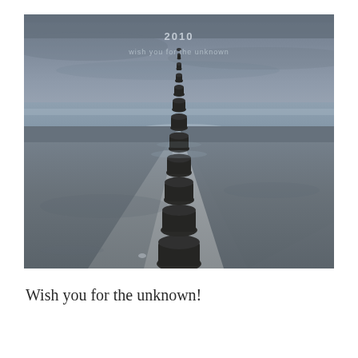[Figure (photo): A moody seascape photograph showing a row of dark wooden groynes or breakwater posts receding into the distance over a calm grey sea, shot from a low angle on a sandy beach under an overcast sky. Overlaid text reads '2010' and 'wish you for the unknown' in light grey.]
Wish you for the unknown!